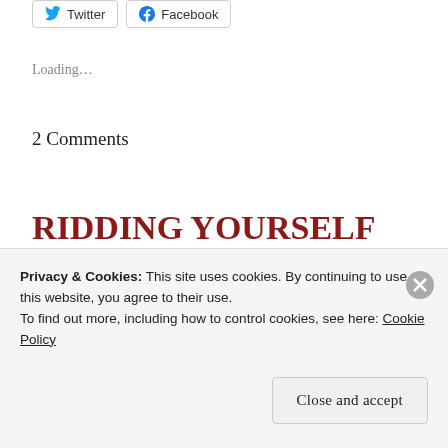[Figure (other): Twitter and Facebook share buttons at top of page]
Loading...
2 Comments
RIDDING YOURSELF OF THE POISON.
Posted on July 29, 2020
Privacy & Cookies: This site uses cookies. By continuing to use this website, you agree to their use.
To find out more, including how to control cookies, see here: Cookie Policy
Close and accept